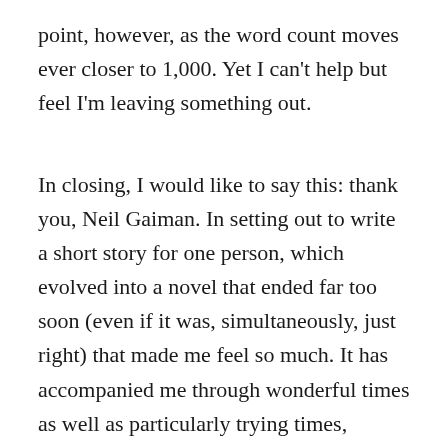point, however, as the word count moves ever closer to 1,000. Yet I can't help but feel I'm leaving something out.
In closing, I would like to say this: thank you, Neil Gaiman. In setting out to write a short story for one person, which evolved into a novel that ended far too soon (even if it was, simultaneously, just right) that made me feel so much. It has accompanied me through wonderful times as well as particularly trying times, always a welcome reprieve from the difficulties of the very real world, with its occasionally boring and unpleasant plot lines. In The Ocean at the End of